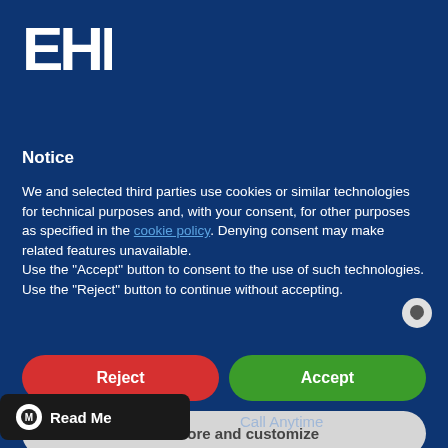[Figure (logo): EHF logo in white text on dark blue background]
Notice
We and selected third parties use cookies or similar technologies for technical purposes and, with your consent, for other purposes as specified in the cookie policy. Denying consent may make related features unavailable.
Use the "Accept" button to consent to the use of such technologies. Use the "Reject" button to continue without accepting.
Reject
Accept
Learn more and customize
Read Me
Call Anytime